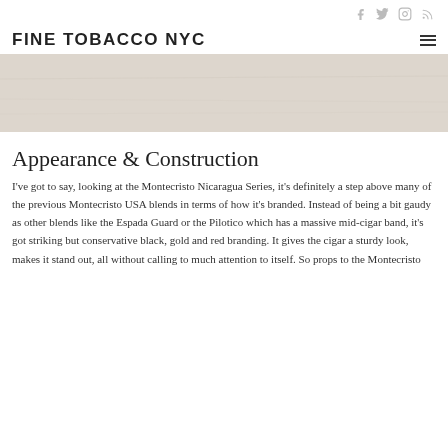Social icons: f, Twitter, Instagram, RSS
FINE TOBACCO NYC
[Figure (photo): A light-colored, off-white textured surface (possibly a cigar wrapper or paper background), serving as a hero/banner image.]
Appearance & Construction
I've got to say, looking at the Montecristo Nicaragua Series, it's definitely a step above many of the previous Montecristo USA blends in terms of how it's branded. Instead of being a bit gaudy as other blends like the Espada Guard or the Pilotico which has a massive mid-cigar band, it's got striking but conservative black, gold and red branding. It gives the cigar a sturdy look, makes it stand out, all without calling to much attention to itself. So props to the Montecristo